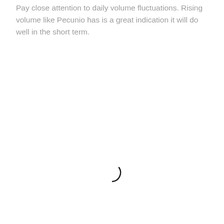Pay close attention to daily volume fluctuations. Rising volume like Pecunio has is a great indication it will do well in the short term.
[Figure (other): A loading spinner arc (partial circle arc, dark gray/black stroke) centered in the lower half of the page, indicating content is loading.]